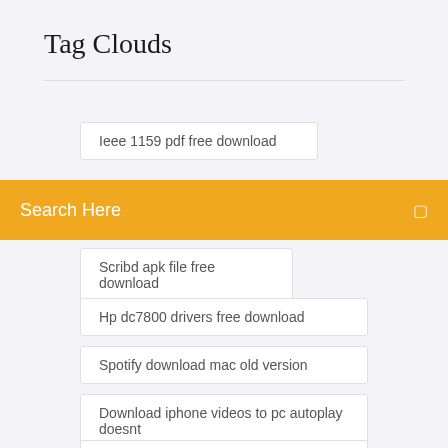Tag Clouds
Ieee 1159 pdf free download
Search Here
Scribd apk file free download
Hp dc7800 drivers free download
Spotify download mac old version
Download iphone videos to pc autoplay doesnt
Last ride of the dalton gang torrent download